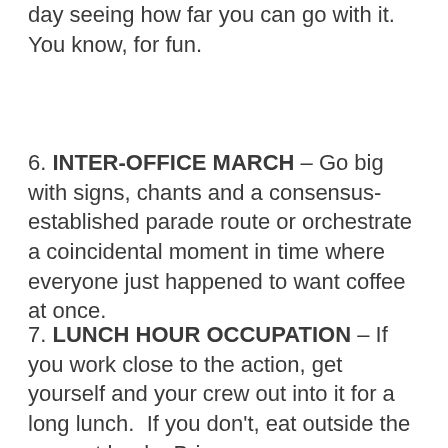day seeing how far you can go with it.  You know, for fun.
6. INTER-OFFICE MARCH – Go big with signs, chants and a consensus-established parade route or orchestrate a coincidental moment in time where everyone just happened to want coffee at once.
7. LUNCH HOUR OCCUPATION – If you work close to the action, get yourself and your crew out into it for a long lunch.  If you don't, eat outside the nearest bank.  Bring